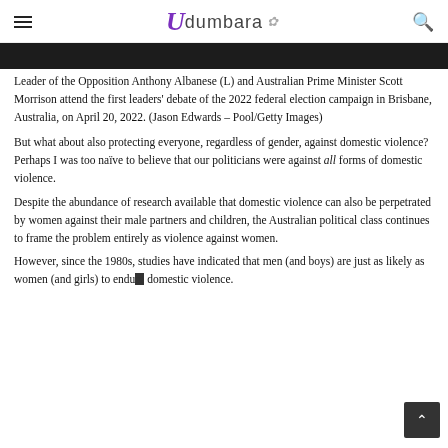Udumbara
Leader of the Opposition Anthony Albanese (L) and Australian Prime Minister Scott Morrison attend the first leaders' debate of the 2022 federal election campaign in Brisbane, Australia, on April 20, 2022. (Jason Edwards – Pool/Getty Images)
But what about also protecting everyone, regardless of gender, against domestic violence? Perhaps I was too naïve to believe that our politicians were against all forms of domestic violence.
Despite the abundance of research available that domestic violence can also be perpetrated by women against their male partners and children, the Australian political class continues to frame the problem entirely as violence against women.
However, since the 1980s, studies have indicated that men (and boys) are just as likely as women (and girls) to endure domestic violence.